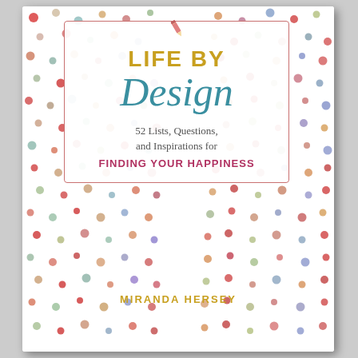[Figure (illustration): Book cover for 'Life by Design' by Miranda Hersey. White background with colorful polka dots pattern. Central white box with pink/rose border containing the title 'LIFE BY' in gold/yellow uppercase letters, 'Design' in large teal italic script, subtitle '52 Lists, Questions, and Inspirations for FINDING YOUR HAPPINESS' in gray and pink text, and a small pencil icon at the top of the box. Author name 'MIRANDA HERSEY' in gold uppercase letters at the bottom of the cover.]